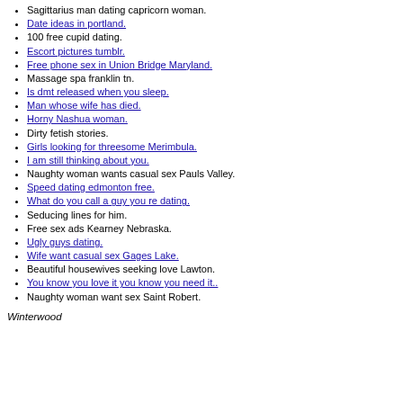Sagittarius man dating capricorn woman.
Date ideas in portland.
100 free cupid dating.
Escort pictures tumblr.
Free phone sex in Union Bridge Maryland.
Massage spa franklin tn.
Is dmt released when you sleep.
Man whose wife has died.
Horny Nashua woman.
Dirty fetish stories.
Girls looking for threesome Merimbula.
I am still thinking about you.
Naughty woman wants casual sex Pauls Valley.
Speed dating edmonton free.
What do you call a guy you re dating.
Seducing lines for him.
Free sex ads Kearney Nebraska.
Ugly guys dating.
Wife want casual sex Gages Lake.
Beautiful housewives seeking love Lawton.
You know you love it you know you need it..
Naughty woman want sex Saint Robert.
Winterwood